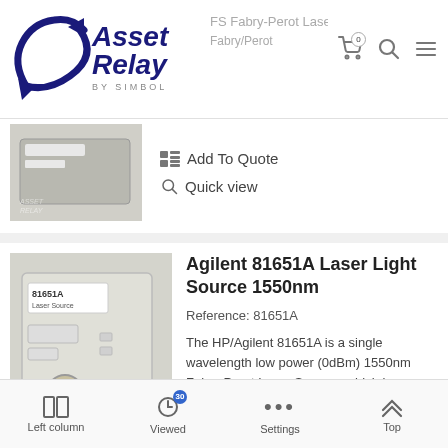[Figure (logo): Asset Relay by Simbol logo — stylized text with blue arrow/swoosh icon]
FS Fabry-Perot Laser
Fabry/Perot
Add To Quote
Quick view
[Figure (photo): Photo of Agilent 81651A Laser Light Source module, white/grey rectangular instrument with connectors]
Agilent 81651A Laser Light Source 1550nm
Reference: 81651A
The HP/Agilent 81651A is a single wavelength low power (0dBm) 1550nm Fabry-Perot Laser Sources which is insensitive to back reflections, and is stabilized for short and long term applications. Click the PDF...
Add To Quote
Left column  Viewed 30  Settings  Top